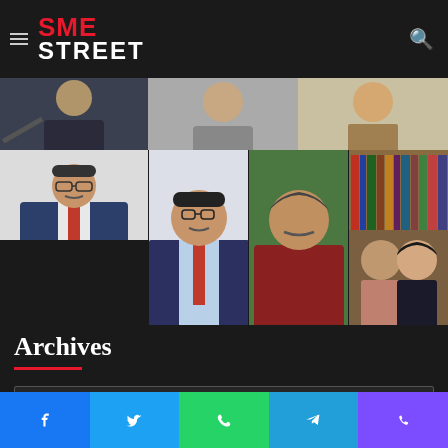[Figure (logo): SME Street logo with hamburger menu and search icon on dark background]
[Figure (photo): Top photo strip showing partial faces on dark background]
[Figure (photo): Photo of man in suit (left column, partial view)]
[Figure (photo): Row of three photos: man with glasses in suit, man in maroon kurta, young man and woman in library]
Archives
[Figure (screenshot): Select Month dropdown box]
SMEStreet Foundation
[Figure (screenshot): Social media share bar: Facebook, Twitter, WhatsApp, Telegram, Phone]
[Figure (screenshot): Back to top red arrow button]